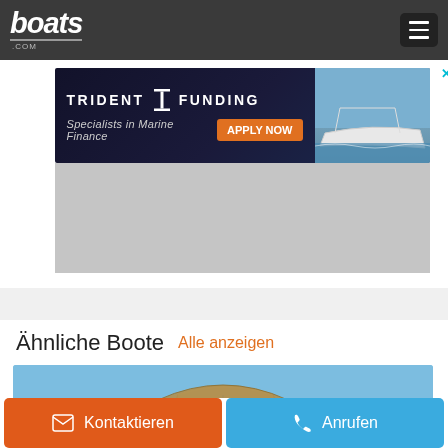boats.com
[Figure (screenshot): Trident Funding advertisement banner - 'Specialists in Marine Finance' with APPLY NOW button and boat image]
[Figure (photo): Gray placeholder block below Trident Funding ad]
Ähnliche Boote  Alle anzeigen
[Figure (photo): Boat with canopy/bimini top against blue sky - similar boats section preview]
Kontaktieren
Anrufen